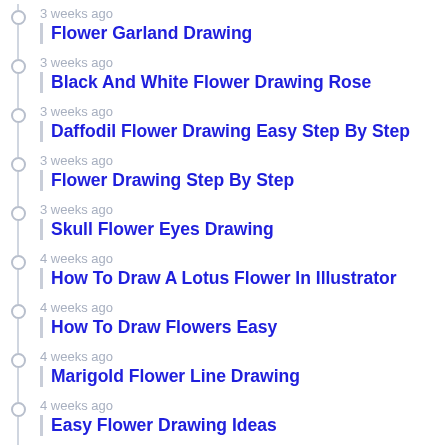3 weeks ago
Flower Garland Drawing
3 weeks ago
Black And White Flower Drawing Rose
3 weeks ago
Daffodil Flower Drawing Easy Step By Step
3 weeks ago
Flower Drawing Step By Step
3 weeks ago
Skull Flower Eyes Drawing
4 weeks ago
How To Draw A Lotus Flower In Illustrator
4 weeks ago
How To Draw Flowers Easy
4 weeks ago
Marigold Flower Line Drawing
4 weeks ago
Easy Flower Drawing Ideas